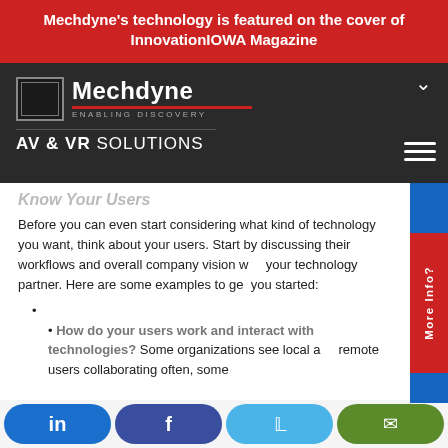Mechdyne's technology is featured on the cover of InnovationIOWA Magazine
[Figure (logo): Mechdyne logo with box icon and tagline ENABLING DISCOVERY, plus AV & VR SOLUTIONS text below]
Know Your Users
Before you can even start considering what kind of technology you want, think about your users. Start by discussing their workflows and overall company vision with your technology partner. Here are some examples to get you started:
How do your users work and interact with technologies? Some organizations see local and remote users collaborating often, some